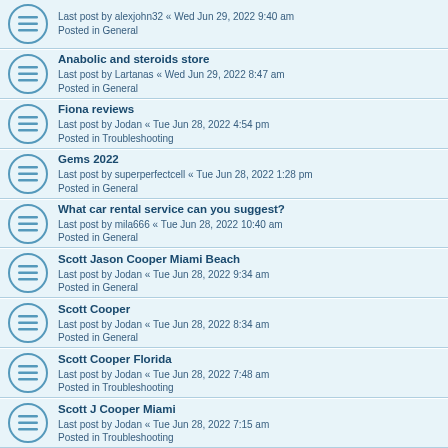Last post by alexjohn32 « Wed Jun 29, 2022 9:40 am
Posted in General
Anabolic and steroids store
Last post by Lartanas « Wed Jun 29, 2022 8:47 am
Posted in General
Fiona reviews
Last post by Jodan « Tue Jun 28, 2022 4:54 pm
Posted in Troubleshooting
Gems 2022
Last post by superperfectcell « Tue Jun 28, 2022 1:28 pm
Posted in General
What car rental service can you suggest?
Last post by mila666 « Tue Jun 28, 2022 10:40 am
Posted in General
Scott Jason Cooper Miami Beach
Last post by Jodan « Tue Jun 28, 2022 9:34 am
Posted in General
Scott Cooper
Last post by Jodan « Tue Jun 28, 2022 8:34 am
Posted in General
Scott Cooper Florida
Last post by Jodan « Tue Jun 28, 2022 7:48 am
Posted in Troubleshooting
Scott J Cooper Miami
Last post by Jodan « Tue Jun 28, 2022 7:15 am
Posted in Troubleshooting